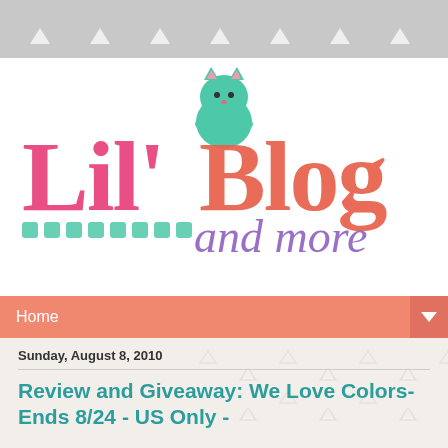[Figure (logo): Lil Blog and More logo with teal cat illustration, colorful text]
Home
Sunday, August 8, 2010
Review and Giveaway: We Love Colors- Ends 8/24 - US Only -
You should see my mom in We Love Colors!
[Figure (photo): Partial photo of a person at the bottom of the page]